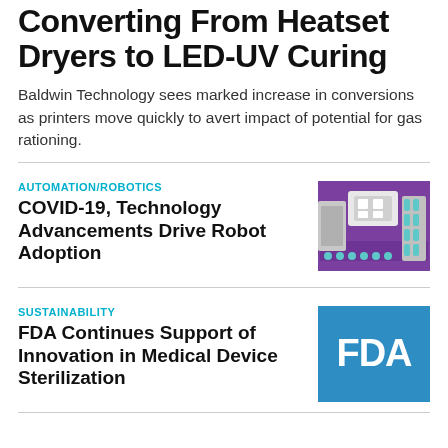Converting From Heatset Dryers to LED-UV Curing
Baldwin Technology sees marked increase in conversions as printers move quickly to avert impact of potential for gas rationing.
AUTOMATION/ROBOTICS
COVID-19, Technology Advancements Drive Robot Adoption
[Figure (photo): Photo of robotic automation equipment with vials on a purple background]
SUSTAINABILITY
FDA Continues Support of Innovation in Medical Device Sterilization
[Figure (logo): FDA logo — white text 'FDA' on blue background]